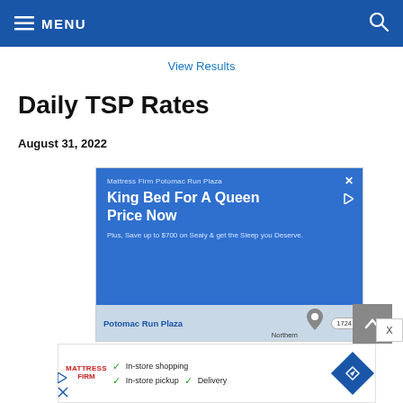≡ MENU
View Results
Daily TSP Rates
August 31, 2022
[Figure (screenshot): Advertisement for Mattress Firm Potomac Run Plaza: 'King Bed For A Queen Price Now. Plus, Save up to $700 on Sealy & get the Sleep you Deserve.' with a Google Maps preview showing Potomac Run Plaza location and road number 1724.]
[Figure (screenshot): Second advertisement for Mattress Firm showing logo with checkmarks for In-store shopping, In-store pickup, and Delivery, with a blue navigation/directions diamond icon.]